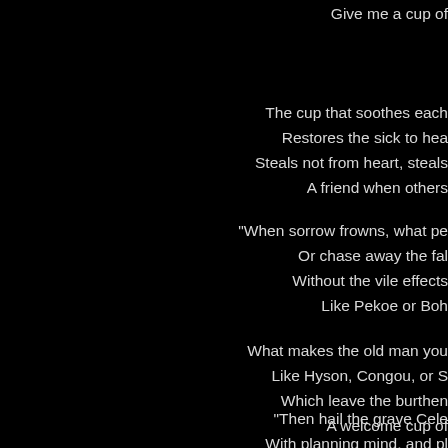Give me a cup of
The cup that soothes each
Restores the sick to hea
Steals not from heart, steals
A friend when others
"When sorrow frowns, what pe
Or chase away the fal
Without the vile effects
Like Pekoe or Boh
What makes the old man you
Like Hyson, Congou, or S
Which leave the burthen
A welcome cup of
"Then hail the grave Cele
With planning mind, and pl